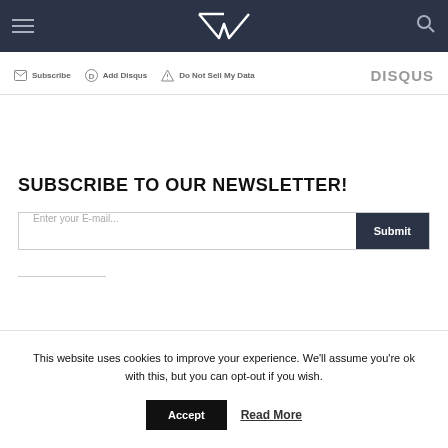VR website header with logo, hamburger menu, and search icon
Subscribe  Add Disqus  Do Not Sell My Data  DISQUS
SUBSCRIBE TO OUR NEWSLETTER!
Enter your E-mail...  Submit
This website uses cookies to improve your experience. We'll assume you're ok with this, but you can opt-out if you wish.
Accept  Read More